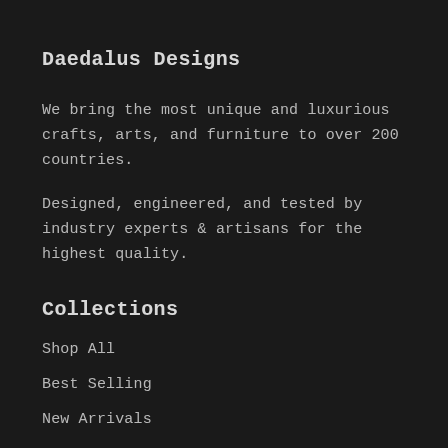Daedalus Designs
We bring the most unique and luxurious crafts, arts, and furniture to over 200 countries.
Designed, engineered, and tested by industry experts & artisans for the highest quality.
Collections
Shop All
Best Selling
New Arrivals